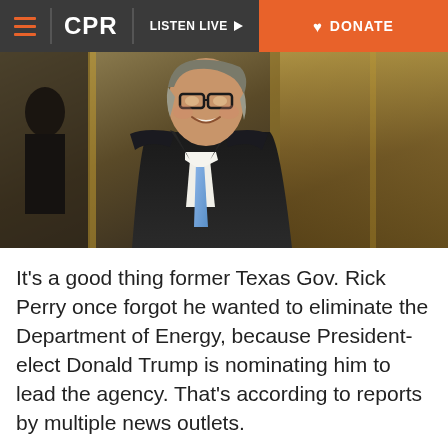CPR | LISTEN LIVE | DONATE
[Figure (photo): A smiling man in a dark suit and blue tie, standing in what appears to be a lobby with marble/golden walls — identified as former Texas Gov. Rick Perry at Trump Tower.]
It's a good thing former Texas Gov. Rick Perry once forgot he wanted to eliminate the Department of Energy, because President-elect Donald Trump is nominating him to lead the agency. That's according to reports by multiple news outlets.
Perry, who served 14 years as governor of energy-